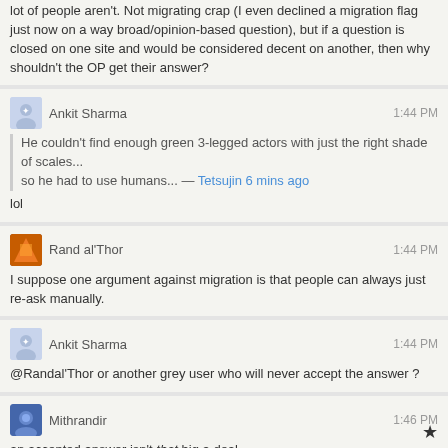lot of people aren't. Not migrating crap (I even declined a migration flag just now on a way broad/opinion-based question), but if a question is closed on one site and would be considered decent on another, then why shouldn't the OP get their answer?
Ankit Sharma — 1:44 PM
He couldn't find enough green 3-legged actors with just the right shade of scales... so he had to use humans... — Tetsujin 6 mins ago
lol
Rand al'Thor — 1:44 PM
I suppose one argument against migration is that people can always just re-ask manually.
Ankit Sharma — 1:44 PM
@Randal'Thor or another grey user who will never accept the answer ?
Mithrandir — 1:46 PM
an accepted answer isn't that big a deal
a user can always choose not to accept any answer
DForck42 — 1:58 PM
@AnkitSharma lol
Movie Reel — 1:58 PM
Q: Who is the actor that plays the character 'Chase', appearing right near the end of the film 'The First Time'
He's uncredited (I'm not referring to Chase Levy, who I don't remember